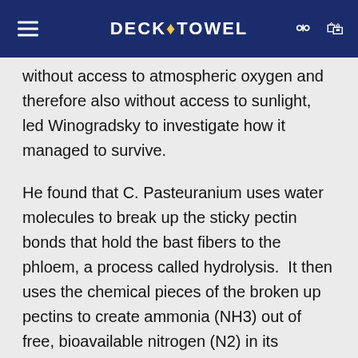DECK-TOWEL
without access to atmospheric oxygen and therefore also without access to sunlight, led Winogradsky to investigate how it managed to survive.
He found that C. Pasteuranium uses water molecules to break up the sticky pectin bonds that hold the bast fibers to the phloem, a process called hydrolysis.  It then uses the chemical pieces of the broken up pectins to create ammonia (NH3) out of free, bioavailable nitrogen (N2) in its surrounding environment, which can then be utilized by the bacteria in its metabolic processes. This is is called nitrogen fixation. You've learned about it before this biology lesson (the nitrogen